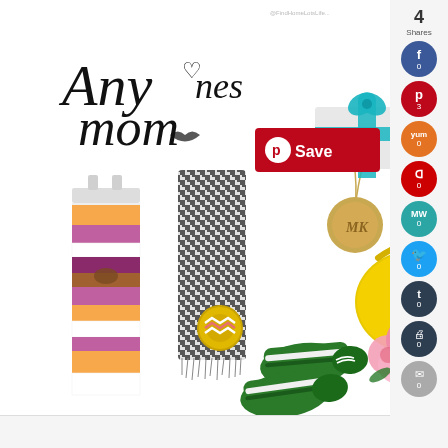[Figure (infographic): Pinterest-style gift guide collage titled 'Any Loves mom' featuring: a striped maxi dress, black-and-white houndstooth scarf, gold locket necklace, Swarovski gift box with teal ribbon, Yankee Candle, yellow hobo bag, green ballet flats, chevron ring, artisan soap bar, and pink roses bouquet. A red 'Save' Pinterest button overlay appears in the center.]
4
Shares
0 (Facebook)
3 (Pinterest)
0 (Yummly)
0 (Flipboard)
0 (MeWe)
0 (Twitter)
0 (Tumblr)
0 (Print)
0 (Email)